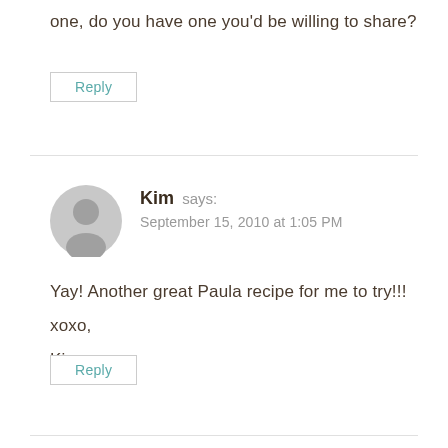one, do you have one you'd be willing to share?
Reply
Kim says:
September 15, 2010 at 1:05 PM
Yay! Another great Paula recipe for me to try!!!

xoxo,

Kim
Reply